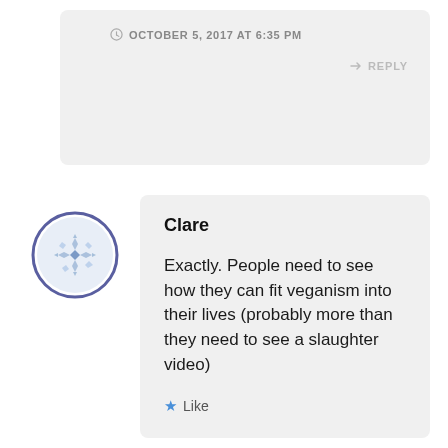OCTOBER 5, 2017 AT 6:35 PM
REPLY
[Figure (illustration): Circular avatar with geometric/snowflake pattern in light blue, outlined with a dark blue/purple circle border]
Clare
Exactly. People need to see how they can fit veganism into their lives (probably more than they need to see a slaughter video)
Like